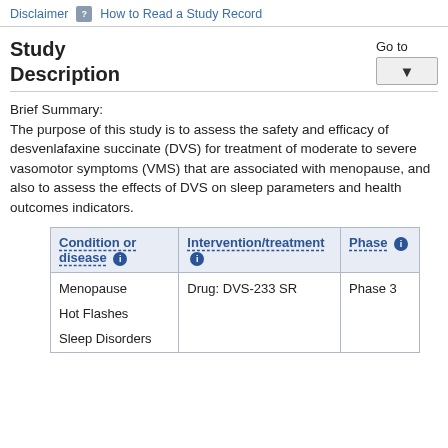Disclaimer  |  ? How to Read a Study Record
Study
Description
Go to
Brief Summary:
The purpose of this study is to assess the safety and efficacy of desvenlafaxine succinate (DVS) for treatment of moderate to severe vasomotor symptoms (VMS) that are associated with menopause, and also to assess the effects of DVS on sleep parameters and health outcomes indicators.
| Condition or disease | Intervention/treatment | Phase |
| --- | --- | --- |
| Menopause
Hot Flashes
Sleep Disorders | Drug: DVS-233 SR | Phase 3 |